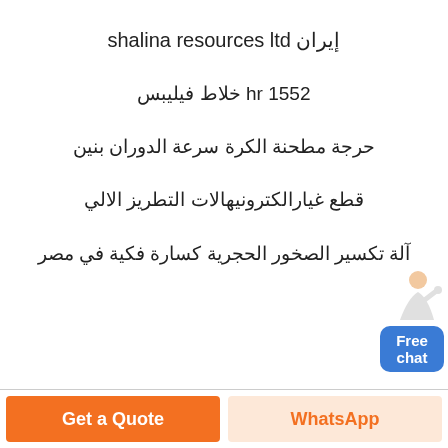إيران shalina resources ltd
hr 1552 خلاط فيليبس
حرجة مطحنة الكرة سرعة الدوران بنين
قطع غيارالكترونيهالات التطريز الالي
آلة تكسير الصخور الحجرية كسارة فكية في مصر
[Figure (illustration): Customer service representative figure next to Free chat button]
Get a Quote
WhatsApp